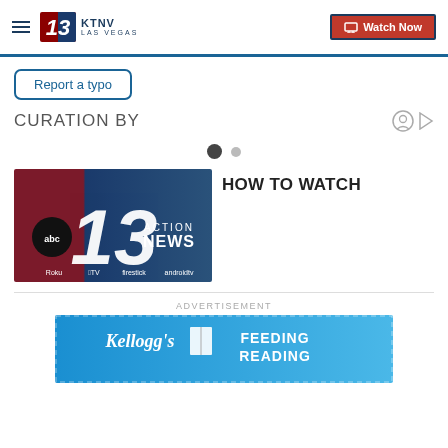KTNV LAS VEGAS | Watch Now
Report a typo
CURATION BY
[Figure (other): Carousel dot indicators: one filled dark circle and one smaller grey circle]
HOW TO WATCH
[Figure (photo): ABC 13 Action News logo image with Roku, Apple TV, Fire Stick, and Android TV icons]
ADVERTISEMENT
[Figure (photo): Kellogg's Feeding Reading advertisement banner]